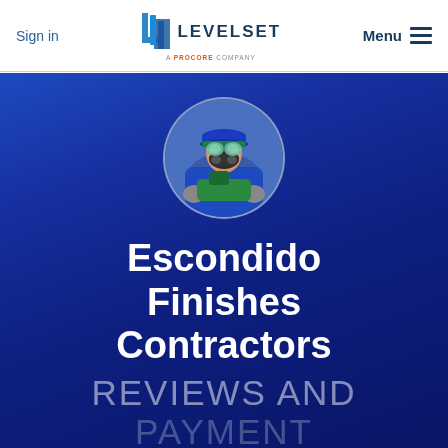Sign in | LEVELSET A PROCORE COMPANY | Menu
[Figure (photo): Circular portrait photo of a construction worker wearing a blue cap, respirator mask, blue shirt, and gloves, holding a power tool, against a blue gradient background]
Escondido Finishes Contractors
REVIEWS AND PAYMENT